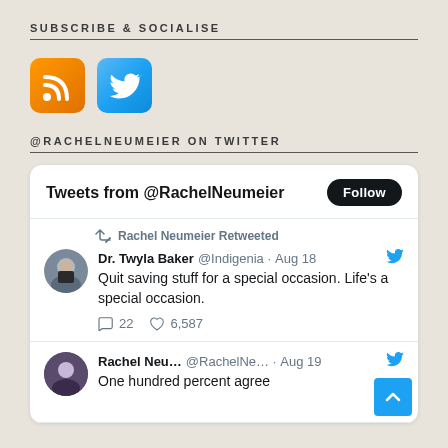SUBSCRIBE & SOCIALISE
[Figure (illustration): RSS feed icon (orange) and Twitter bird icon (blue), both square with rounded corners]
@RACHELNEUMEIER ON TWITTER
[Figure (screenshot): Twitter widget showing tweets from @RachelNeumeier with a Follow button. First tweet is a retweet by Rachel Neumeier of Dr. Twyla Baker @Indigenia from Aug 18: 'Quit saving stuff for a special occasion. Life's a special occasion.' with 22 replies and 6,587 likes. Second tweet is from Rachel Neu... @RachelNe... Aug 19: 'One hundred percent agree']